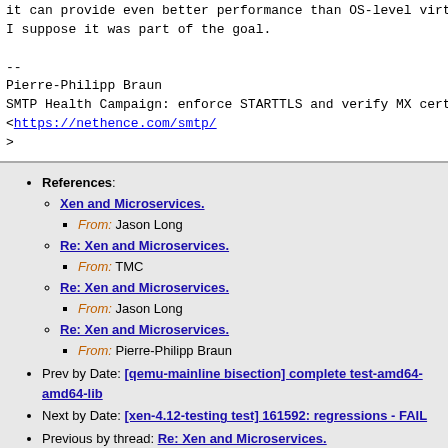it can provide even better performance than OS-level virtualiz...
I suppose it was part of the goal.

--
Pierre-Philipp Braun
SMTP Health Campaign: enforce STARTTLS and verify MX certifica...
<https://nethence.com/smtp/
>
References: Xen and Microservices. From: Jason Long | Re: Xen and Microservices. From: TMC | Re: Xen and Microservices. From: Jason Long | Re: Xen and Microservices. From: Pierre-Philipp Braun
Prev by Date: [qemu-mainline bisection] complete test-amd64-amd64-lib...
Next by Date: [xen-4.12-testing test] 161592: regressions - FAIL
Previous by thread: Re: Xen and Microservices.